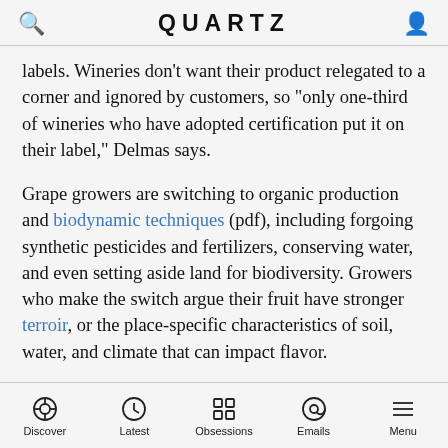QUARTZ
labels. Wineries don't want their product relegated to a corner and ignored by customers, so "only one-third of wineries who have adopted certification put it on their label," Delmas says.
Grape growers are switching to organic production and biodynamic techniques (pdf), including forgoing synthetic pesticides and fertilizers, conserving water, and even setting aside land for biodiversity. Growers who make the switch argue their fruit have stronger terroir, or the place-specific characteristics of soil, water, and climate that can impact flavor.
Grapes produced organically require a lot of labor, because every weed and bug must be removed by hand.
Discover | Latest | Obsessions | Emails | Menu